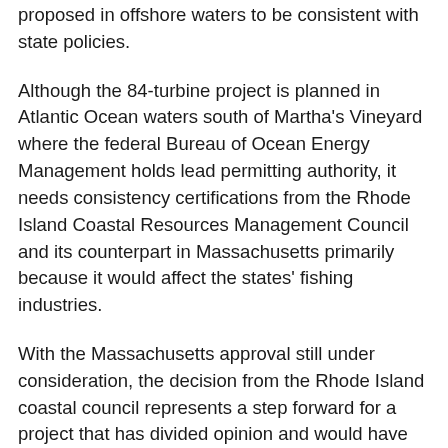proposed in offshore waters to be consistent with state policies.
Although the 84-turbine project is planned in Atlantic Ocean waters south of Martha's Vineyard where the federal Bureau of Ocean Energy Management holds lead permitting authority, it needs consistency certifications from the Rhode Island Coastal Resources Management Council and its counterpart in Massachusetts primarily because it would affect the states' fishing industries.
With the Massachusetts approval still under consideration, the decision from the Rhode Island coastal council represents a step forward for a project that has divided opinion and would have come as a relief to Vineyard Wind.